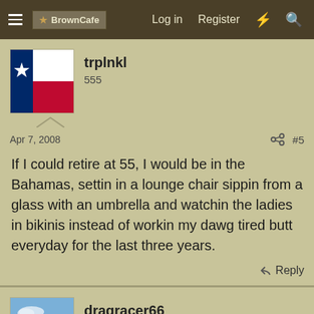BrownCafe  Log in  Register
trplnkl
555
Apr 7, 2008  #5
If I could retire at 55, I would be in the Bahamas, settin in a lounge chair sippin from a glass with an umbrella and watchin the ladies in bikinis instead of workin my dawg tired butt everyday for the last three years.
Reply
dragracer66
Well-Known Member
Apr 7, 2008  #6